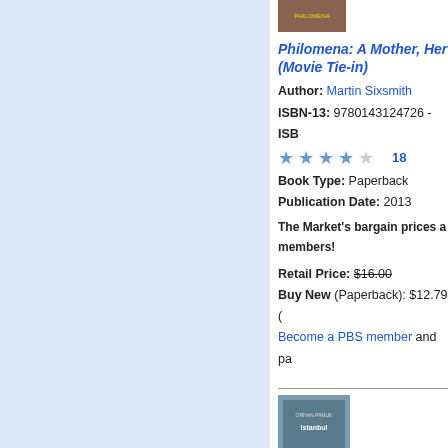[Figure (photo): Book cover thumbnail for Philomena (partially visible at top)]
Philomena: A Mother, Her Son, and a Fifty-Year Search (Movie Tie-in)
Author: Martin Sixsmith
ISBN-13: 9780143124726 - ISB
★★★★☆ 18
Book Type: Paperback
Publication Date: 2013
The Market's bargain prices a members!
Retail Price: $16.00
Buy New (Paperback): $12.79
Become a PBS member and pa
[Figure (photo): Book cover for Istanbul: Memories and the City by Orhan Pamuk]
Istanbul: Memories and th
Author: Orhan Pamuk
ISBN-13: 9781400033881 - ISB
★★★☆☆ 11
Book Type: Paperback